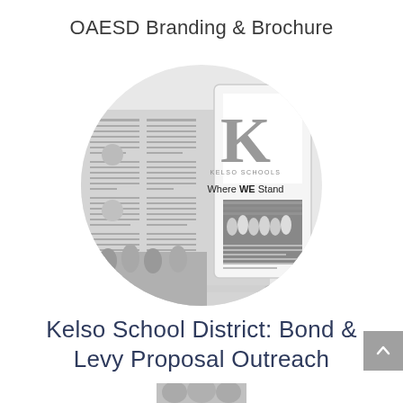OAESD Branding & Brochure
[Figure (photo): Circular collage showing a newspaper layout, a tablet/brochure displaying 'Where WE Stand' with a large K for Kelso Schools logo and a graduation ceremony photo, set on a light gray circle background with a stylus pen.]
Kelso School District: Bond & Levy Proposal Outreach
[Figure (photo): Partially visible image at the bottom of the page, cropped.]